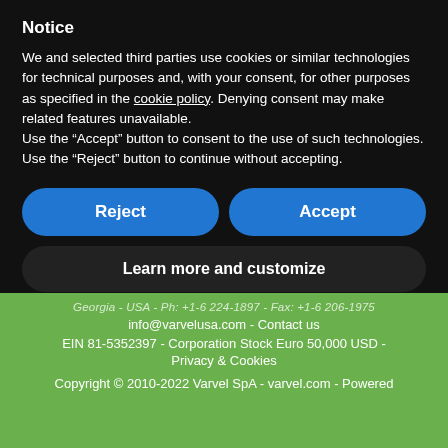Notice
We and selected third parties use cookies or similar technologies for technical purposes and, with your consent, for other purposes as specified in the cookie policy. Denying consent may make related features unavailable.
Use the “Accept” button to consent to the use of such technologies. Use the “Reject” button to continue without accepting.
Reject
Accept
Learn more and customize
Georgia - USA - Ph: +1-6 224-1897 - Fax: +1-6 206-1975
info@varvelusa.com - Contact us
EIN 81-5352397 - Corporation Stock Euro 50,000 USD -
Privacy & Cookies
Copyright © 2010-2022 Varvel SpA - varvel.com - Powered